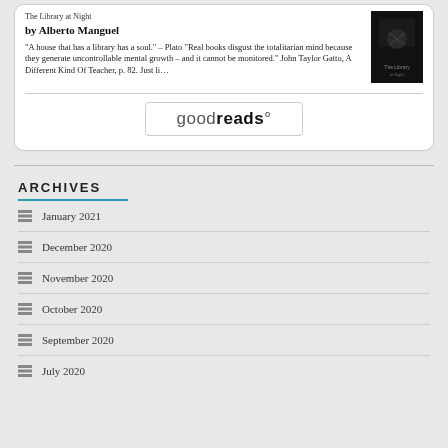The Library at Night
by Alberto Manguel
"A house that has a library has a soul." – Plato "Real books disgust the totalitarian mind because they generate uncontrollable mental growth – and it cannot be monitored." John Taylor Gatto, A Different Kind Of Teacher, p. 82. Just li…
[Figure (photo): Book cover of The Library at Night, dark image with dim figure]
[Figure (logo): Goodreads logo button with rounded rectangle border]
ARCHIVES
January 2021
December 2020
November 2020
October 2020
September 2020
July 2020